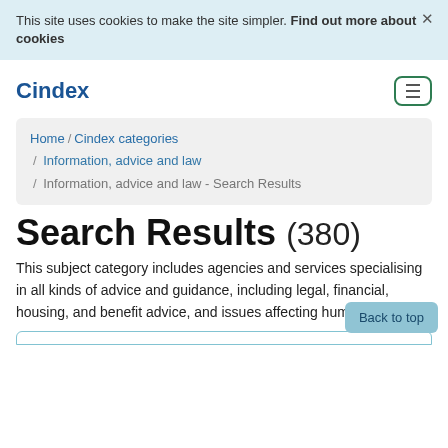This site uses cookies to make the site simpler. Find out more about cookies
Cindex
Home / Cindex categories / Information, advice and law / Information, advice and law - Search Results
Search Results (380)
This subject category includes agencies and services specialising in all kinds of advice and guidance, including legal, financial, housing, and benefit advice, and issues affecting human rights.
Back to top